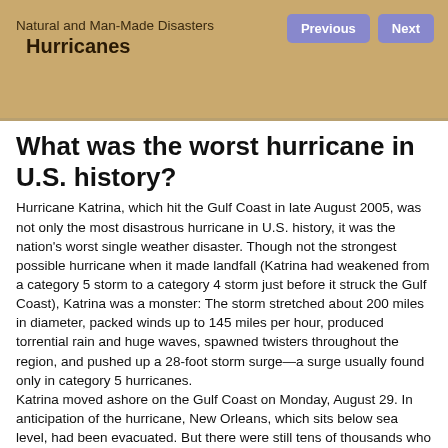Natural and Man-Made Disasters
    Hurricanes
What was the worst hurricane in U.S. history?
Hurricane Katrina, which hit the Gulf Coast in late August 2005, was not only the most disastrous hurricane in U.S. history, it was the nation's worst single weather disaster. Though not the strongest possible hurricane when it made landfall (Katrina had weakened from a category 5 storm to a category 4 storm just before it struck the Gulf Coast), Katrina was a monster: The storm stretched about 200 miles in diameter, packed winds up to 145 miles per hour, produced torrential rain and huge waves, spawned twisters throughout the region, and pushed up a 28-foot storm surge—a surge usually found only in category 5 hurricanes.
Katrina moved ashore on the Gulf Coast on Monday, August 29. In anticipation of the hurricane, New Orleans, which sits below sea level, had been evacuated. But there were still tens of thousands who stayed—out of